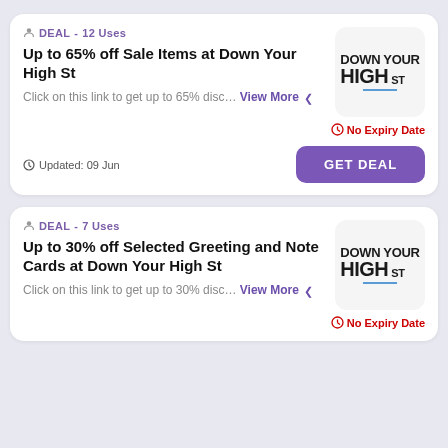DEAL - 12 Uses
Up to 65% off Sale Items at Down Your High St
Click on this link to get up to 65% disc… View More
[Figure (logo): Down Your High St logo — bold black text on light grey rounded square background]
No Expiry Date
Updated: 09 Jun
GET DEAL
DEAL - 7 Uses
Up to 30% off Selected Greeting and Note Cards at Down Your High St
Click on this link to get up to 30% disc… View More
[Figure (logo): Down Your High St logo — bold black text on light grey rounded square background]
No Expiry Date